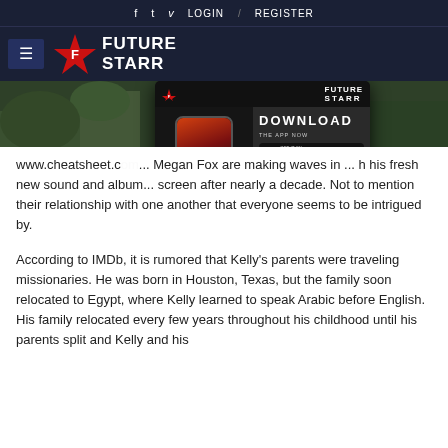f  t  v  LOGIN / REGISTER
[Figure (logo): Future Starr logo with hamburger menu on dark navy background]
[Figure (photo): Outdoor photo strip showing trees/foliage, with a Future Starr app download popup ad overlaid]
www.cheatsheet.com ... Megan Fox are making waves in ... h his fresh new sound and album... screen after nearly a decade. Not to mention their relationship with one another that everyone seems to be intrigued by.
According to IMDb, it is rumored that Kelly's parents were traveling missionaries. He was born in Houston, Texas, but the family soon relocated to Egypt, where Kelly learned to speak Arabic before English. His family relocated every few years throughout his childhood until his parents split and Kelly and his